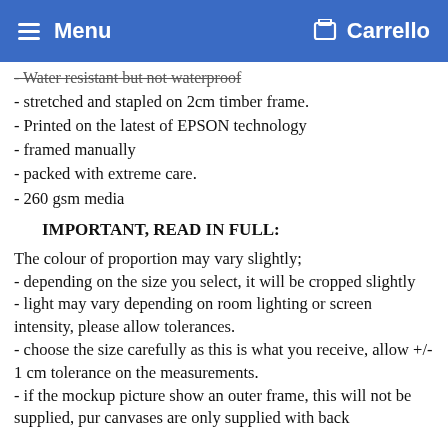Menu   Carrello
- Water resistant but not waterproof
- stretched and stapled on 2cm timber frame.
- Printed on the latest of EPSON technology
- framed manually
- packed with extreme care.
- 260 gsm media
IMPORTANT, READ IN FULL:
The colour of proportion may vary slightly;
- depending on the size you select, it will be cropped slightly
- light may vary depending on room lighting or screen intensity, please allow tolerances.
- choose the size carefully as this is what you receive, allow +/- 1 cm tolerance on the measurements.
- if the mockup picture show an outer frame, this will not be supplied, pur canvases are only supplied with back